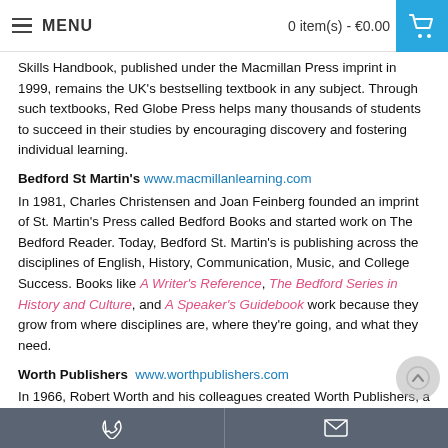MENU   0 item(s) - €0.00
Skills Handbook, published under the Macmillan Press imprint in 1999, remains the UK's bestselling textbook in any subject. Through such textbooks, Red Globe Press helps many thousands of students to succeed in their studies by encouraging discovery and fostering individual learning.
Bedford St Martin's  www.macmillanlearning.com
In 1981, Charles Christensen and Joan Feinberg founded an imprint of St. Martin's Press called Bedford Books and started work on The Bedford Reader. Today, Bedford St. Martin's is publishing across the disciplines of English, History, Communication, Music, and College Success. Books like A Writer's Reference, The Bedford Series in History and Culture, and A Speaker's Guidebook work because they grow from where disciplines are, where they're going, and what they need.
Worth Publishers  www.worthpublishers.com
In 1966, Robert Worth and his colleagues created Worth Publishers, a company dedicated to publishing a highly selective list of college textbooks, each individually developed to meet the needs of students
📞   ✉